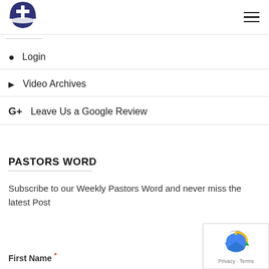[Figure (logo): Church logo: dark navy blue semicircle with white cross above a white arc]
[Figure (other): Hamburger menu icon (three horizontal lines)]
Login
Video Archives
Leave Us a Google Review
PASTORS WORD
Subscribe to our Weekly Pastors Word and never miss the latest Post
First Name *
[Figure (other): Google reCAPTCHA badge with logo and Privacy - Terms links]